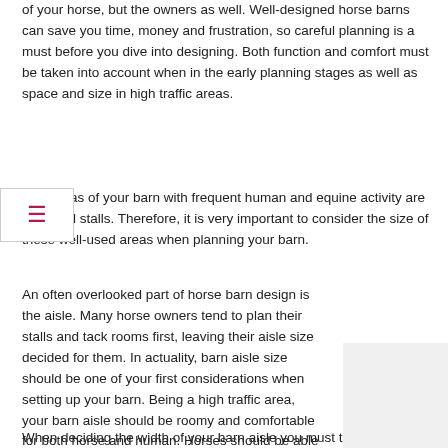of your horse, but the owners as well. Well-designed horse barns can save you time, money and frustration, so careful planning is a must before you dive into designing. Both function and comfort must be taken into account when in the early planning stages as well as space and size in high traffic areas.
Two areas of your barn with frequent human and equine activity are aisle and stalls. Therefore, it is very important to consider the size of these well-used areas when planning your barn.
An often overlooked part of horse barn design is the aisle. Many horse owners tend to plan their stalls and tack rooms first, leaving their aisle size decided for them. In actuality, barn aisle size should be one of your first considerations when setting up your barn. Being a high traffic area, your barn aisle should be roomy and comfortable for both horse and human. Horses should be able to be comfortably moved, maneuvered and turned around in a proper sized ba
When deciding the width of your barn aisle you must take your door